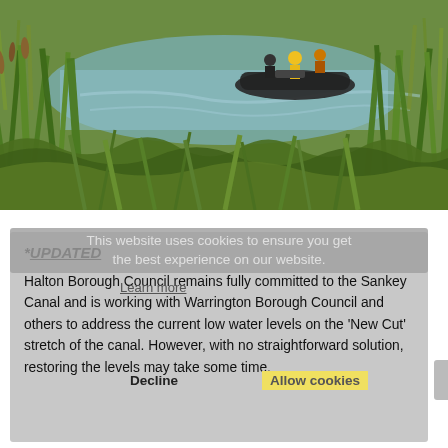[Figure (photo): People on an inflatable boat on a canal surrounded by tall green reeds and vegetation. Shot from behind the reeds looking toward the water.]
*UPDATED
This website uses cookies to ensure you get the best experience on our website.
Halton Borough Council remains fully committed to the Sankey Canal and is working with Warrington Borough Council and others to address the current low water levels on the 'New Cut' stretch of the canal. However, with no straightforward solution, restoring the levels may take some time.